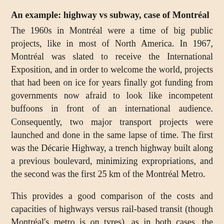An example: highway vs subway, case of Montréal
The 1960s in Montréal were a time of big public projects, like in most of North America. In 1967, Montréal was slated to receive the International Exposition, and in order to welcome the world, projects that had been on ice for years finally got funding from governments now afraid to look like incompetent buffoons in front of an international audience. Consequently, two major transport projects were launched and done in the same lapse of time. The first was the Décarie Highway, a trench highway built along a previous boulevard, minimizing expropriations, and the second was the first 25 km of the Montréal Metro.
This provides a good comparison of the costs and capacities of highways versus rail-based transit (though Montréal's metro is on tyres), as in both cases, the projects would be built underground, one in a trench, the other in tunnels. Too often, people claim that highways are cheaper than transit, or at least act like they are, but they do so comparing highways built on the surface in suburbs or fields with